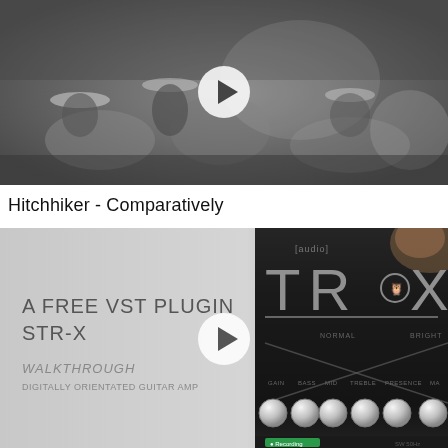[Figure (screenshot): Black and white video thumbnail showing people sitting outdoors, with a white play button overlay in the center]
Hitchhiker - Comparatively
[Figure (screenshot): Video thumbnail showing a guitar amp VST plugin interface. Left side shows white text on light background reading 'A FREE VST PLUGIN STR-X' and 'WALKTHROUGH DIGITALLY ORIENTATED GUITAR AMP'. Right side shows dark amp interface with 'TR-X' branding and knobs for GAIN, BASS, MID, TREBLE, PRESENCE. White play button overlay in center.]